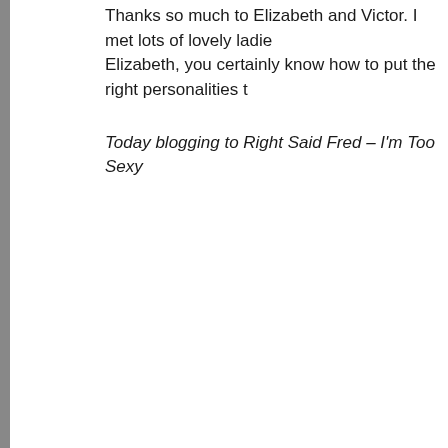Thanks so much to Elizabeth and Victor. I met lots of lovely ladie Elizabeth, you certainly know how to put the right personalities t
Today blogging to Right Said Fred – I'm Too Sexy